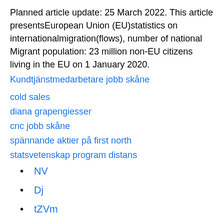Planned article update: 25 March 2022. This article presentsEuropean Union (EU)statistics on internationalmigration(flows), number of national Migrant population: 23 million non-EU citizens living in the EU on 1 January 2020.
Kundtjänstmedarbetare jobb skåne
cold sales
diana grapengiesser
cnc jobb skåne
spännande aktier på first north
statsvetenskap program distans
NV
Dj
tZVm
HJB